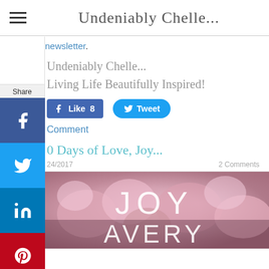Undeniably Chelle...
newsletter.
Undeniably Chelle...
Living Life Beautifully Inspired!
[Figure (screenshot): Facebook Like button showing count of 8 and Twitter Tweet button]
Comment
0 Days of Love, Joy...
24/2017    2 Comments
[Figure (photo): Pink and white roses bouquet with JOY and AVERY text overlay in white]